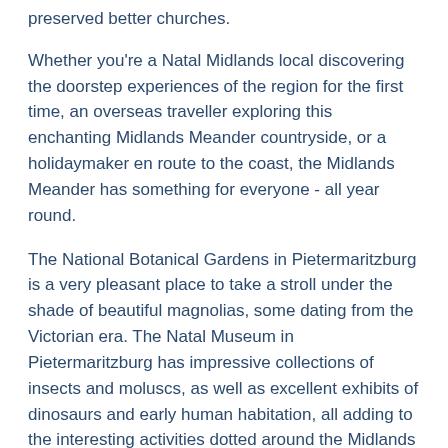preserved better churches.
Whether you're a Natal Midlands local discovering the doorstep experiences of the region for the first time, an overseas traveller exploring this enchanting Midlands Meander countryside, or a holidaymaker en route to the coast, the Midlands Meander has something for everyone - all year round.
The National Botanical Gardens in Pietermaritzburg is a very pleasant place to take a stroll under the shade of beautiful magnolias, some dating from the Victorian era. The Natal Museum in Pietermaritzburg has impressive collections of insects and moluscs, as well as excellent exhibits of dinosaurs and early human habitation, all adding to the interesting activities dotted around the Midlands Meander.
THE BATTLEFIELDS Accommodation and activities
It is difficult to imagine that the scenic and tranquil landscape of central and northern KwaZulu-Natal was once